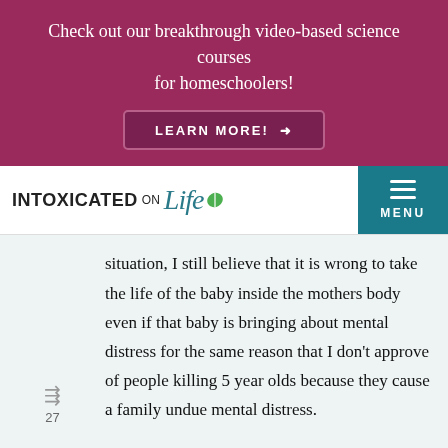Check out our breakthrough video-based science courses for homeschoolers!
LEARN MORE! →
[Figure (logo): Intoxicated on Life logo with teal cursive 'Life' and green leaf icon]
MENU
situation, I still believe that it is wrong to take the life of the baby inside the mothers body even if that baby is bringing about mental distress for the same reason that I don't approve of people killing 5 year olds because they cause a family undue mental distress.
I'd be curious to know what statistics there are out there regarding mentally ill
27